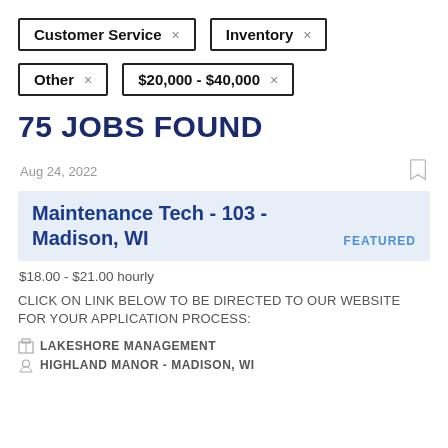Customer Service ×
Inventory ×
Other ×
$20,000 - $40,000 ×
75 JOBS FOUND
Aug 24, 2022
Maintenance Tech - 103 - Madison, WI
FEATURED
$18.00 - $21.00 hourly
CLICK ON LINK BELOW TO BE DIRECTED TO OUR WEBSITE FOR YOUR APPLICATION PROCESS:
LAKESHORE MANAGEMENT
HIGHLAND MANOR - MADISON, WI